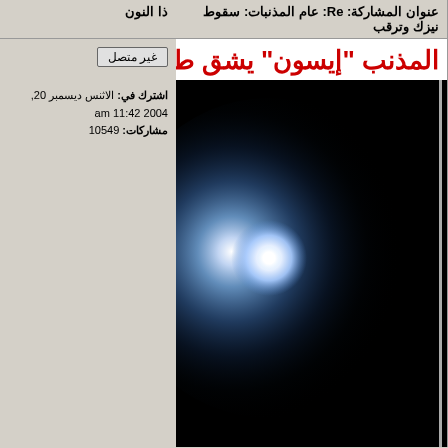عنوان المشاركة: Re: عام المذنبات: سقوط نيزك وترقب
ذا النون
المذنب "إيسون" يشق طر
غير متصل
اشترك في: الاثنس ديسمبر 20, 2004 11:42 am
مشاركات: 10549
[Figure (photo): Astronomical photo of comet ISON showing a bright blue-white glowing nucleus against a dark black space background]